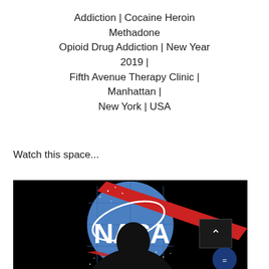Addiction | Cocaine Heroin Methadone Opioid Drug Addiction | New Year 2019 | Fifth Avenue Therapy Clinic | Manhattan | New York | USA
Watch this space...
[Figure (photo): Silhouette of a person's head in front of a large illuminated NASA logo (blue circle with red vector swoosh and white text 'NASA') displayed on a grid of screens in a dark room. A scroll-up chevron button and a chat bubble button are visible on the right edge.]